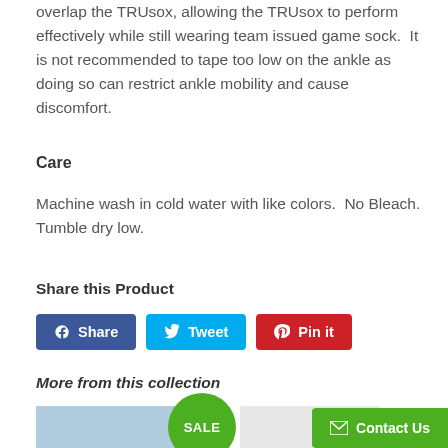overlap the TRUsox, allowing the TRUsox to perform effectively while still wearing team issued game sock.  It is not recommended to tape too low on the ankle as doing so can restrict ankle mobility and cause discomfort.
Care
Machine wash in cold water with like colors.  No Bleach.  Tumble dry low.
Share this Product
Share  Tweet  Pin it
More from this collection
[Figure (photo): Product image with SALE badge]
[Figure (other): Contact Us button overlay]